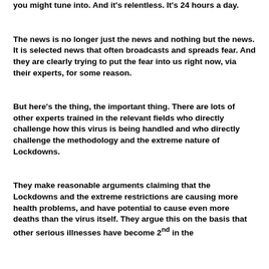you might tune into.  And it's relentless.  It's 24 hours a day.
The news is no longer just the news and nothing but the news. It is selected news that often broadcasts and spreads fear. And they are clearly trying to put the fear into us right now, via their experts,  for some reason.
But here's the thing,  the important thing.    There are lots of other experts trained in the relevant fields who directly challenge how this virus is being handled and who directly challenge the methodology and the extreme nature of Lockdowns.
They make reasonable arguments claiming that the Lockdowns and the extreme restrictions are causing more health problems, and have potential to cause even more deaths than the virus itself. They argue this on the basis that other serious illnesses have become 2nd in the